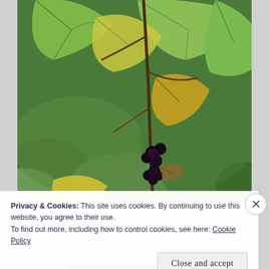[Figure (photo): Close-up photograph of a blackberry or similar berry plant with green and yellowing leaves, dark ripe berries visible on the stem, with green grass and foliage in the background.]
Privacy & Cookies: This site uses cookies. By continuing to use this website, you agree to their use.
To find out more, including how to control cookies, see here: Cookie Policy
Close and accept